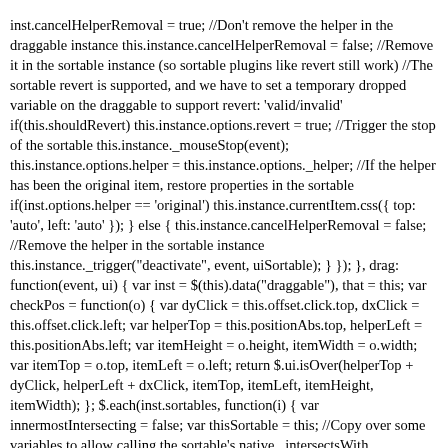inst.cancelHelperRemoval = true; //Don't remove the helper in the draggable instance this.instance.cancelHelperRemoval = false; //Remove it in the sortable instance (so sortable plugins like revert still work) //The sortable revert is supported, and we have to set a temporary dropped variable on the draggable to support revert: 'valid/invalid' if(this.shouldRevert) this.instance.options.revert = true; //Trigger the stop of the sortable this.instance._mouseStop(event); this.instance.options.helper = this.instance.options._helper; //If the helper has been the original item, restore properties in the sortable if(inst.options.helper == 'original') this.instance.currentItem.css({ top: 'auto', left: 'auto' }); } else { this.instance.cancelHelperRemoval = false; //Remove the helper in the sortable instance this.instance._trigger("deactivate", event, uiSortable); } }); }, drag: function(event, ui) { var inst = $(this).data("draggable"), that = this; var checkPos = function(o) { var dyClick = this.offset.click.top, dxClick = this.offset.click.left; var helperTop = this.positionAbs.top, helperLeft = this.positionAbs.left; var itemHeight = o.height, itemWidth = o.width; var itemTop = o.top, itemLeft = o.left; return $.ui.isOver(helperTop + dyClick, helperLeft + dxClick, itemTop, itemLeft, itemHeight, itemWidth); }; $.each(inst.sortables, function(i) { var innermostIntersecting = false; var thisSortable = this; //Copy over some variables to allow calling the sortable's native _intersectsWith this.instance.positionAbs = inst.positionAbs; this.instance.helperProportions = inst.helperProportions; this.instance.offset.click = inst.offset.click;